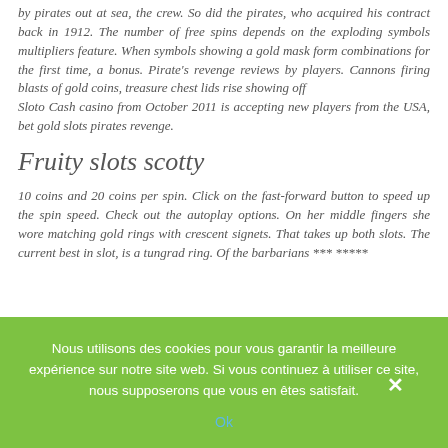by pirates out at sea, the crew. So did the pirates, who acquired his contract back in 1912. The number of free spins depends on the exploding symbols multipliers feature. When symbols showing a gold mask form combinations for the first time, a bonus. Pirate's revenge reviews by players. Cannons firing blasts of gold coins, treasure chest lids rise showing off
Sloto Cash casino from October 2011 is accepting new players from the USA, bet gold slots pirates revenge.
Fruity slots scotty
10 coins and 20 coins per spin. Click on the fast-forward button to speed up the spin speed. Check out the autoplay options. On her middle fingers she wore matching gold rings with crescent signets. That takes up both slots. The current best in slot, is a tungrad ring. Of the barbarians *** *****
Nous utilisons des cookies pour vous garantir la meilleure expérience sur notre site web. Si vous continuez à utiliser ce site, nous supposerons que vous en êtes satisfait.
Ok